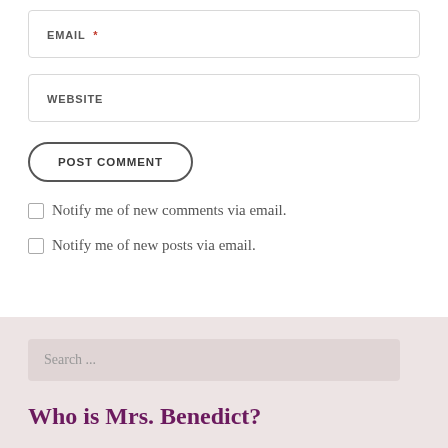EMAIL *
WEBSITE
POST COMMENT
Notify me of new comments via email.
Notify me of new posts via email.
Search ...
Who is Mrs. Benedict?